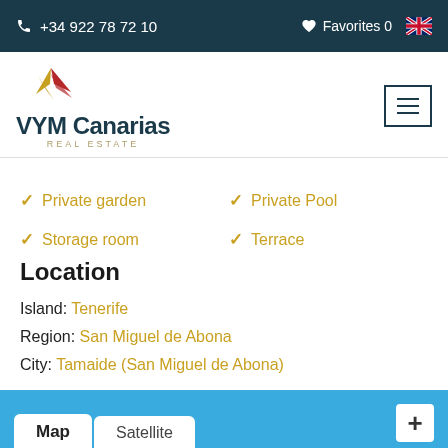+34 922 78 72 10   Favorites 0
[Figure (logo): VYM Canarias Real Estate logo with stylized bird/leaf graphic in red and gold]
Private garden
Private Pool
Storage room
Terrace
Location
Island: Tenerife
Region: San Miguel de Abona
City: Tamaide (San Miguel de Abona)
[Figure (map): Map/Satellite toggle bar with blue background, Map and Satellite tabs, and + button]